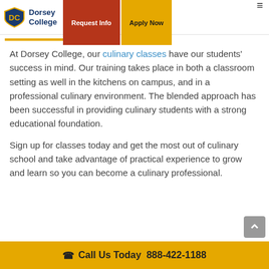Dorsey College | Request Info | Apply Now
At Dorsey College, our culinary classes have our students' success in mind. Our training takes place in both a classroom setting as well in the kitchens on campus, and in a professional culinary environment. The blended approach has been successful in providing culinary students with a strong educational foundation.
Sign up for classes today and get the most out of culinary school and take advantage of practical experience to grow and learn so you can become a culinary professional.
Call Us Today  888-422-1188